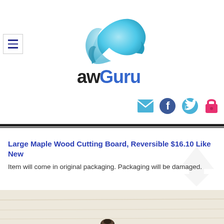[Figure (logo): awGuru logo with blue arrow/bird shape above the text 'awGuru' in dark and blue lettering]
[Figure (infographic): Social media icons: envelope (email), Facebook, Twitter, and a pink/red lock icon]
Large Maple Wood Cutting Board, Reversible $16.10 Like New
Item will come in original packaging. Packaging will be damaged.
[Figure (photo): Partial photo of a cutting board or wooden product on a light background]